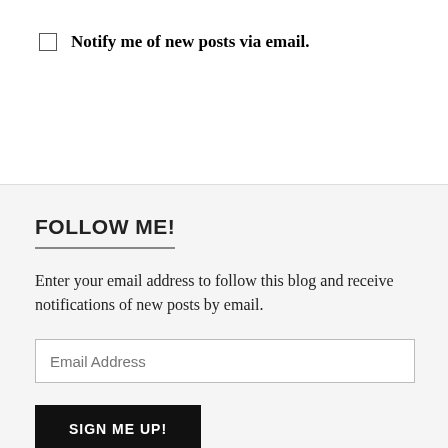Notify me of new posts via email.
FOLLOW ME!
Enter your email address to follow this blog and receive notifications of new posts by email.
Email Address
SIGN ME UP!